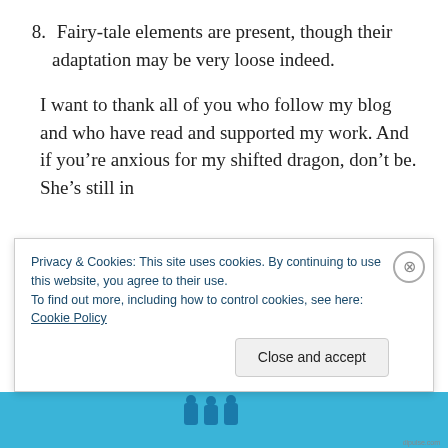8. Fairy-tale elements are present, though their adaptation may be very loose indeed.
I want to thank all of you who follow my blog and who have read and supported my work. And if you’re anxious for my shifted dragon, don’t be. She’s still in
Privacy & Cookies: This site uses cookies. By continuing to use this website, you agree to their use. To find out more, including how to control cookies, see here: Cookie Policy
[Figure (illustration): Blue banner strip at the bottom of the page with illustrated figures/characters]